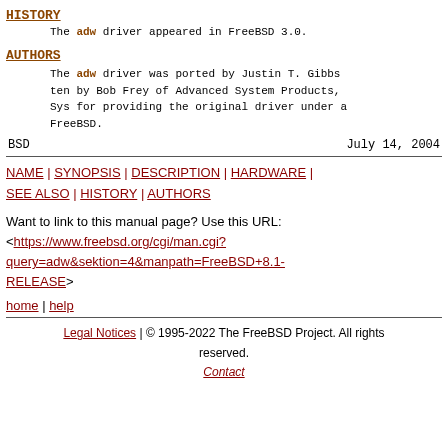HISTORY
The adw driver appeared in FreeBSD 3.0.
AUTHORS
The adw driver was ported by Justin T. Gibbs ten by Bob Frey of Advanced System Products, Sys for providing the original driver under a FreeBSD.
BSD                              July 14, 2004
NAME | SYNOPSIS | DESCRIPTION | HARDWARE | SEE ALSO | HISTORY | AUTHORS
Want to link to this manual page? Use this URL:
<https://www.freebsd.org/cgi/man.cgi?query=adw&sektion=4&manpath=FreeBSD+8.1-RELEASE>
home | help
Legal Notices | © 1995-2022 The FreeBSD Project. All rights reserved.
Contact